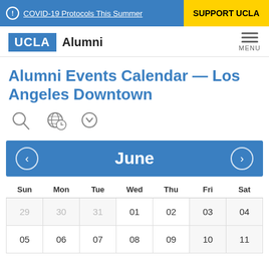COVID-19 Protocols This Summer | SUPPORT UCLA
[Figure (logo): UCLA Alumni logo with navigation menu]
Alumni Events Calendar — Los Angeles Downtown
[Figure (infographic): Search, globe/timezone, and filter icons]
June
| Sun | Mon | Tue | Wed | Thu | Fri | Sat |
| --- | --- | --- | --- | --- | --- | --- |
| 29 | 30 | 31 | 01 | 02 | 03 | 04 |
| 05 | 06 | 07 | 08 | 09 | 10 | 11 |